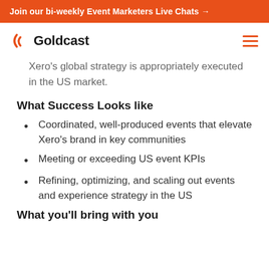Join our bi-weekly Event Marketers Live Chats →
[Figure (logo): Goldcast logo with orange arc icon and bold 'Goldcast' wordmark]
Xero's global strategy is appropriately executed in the US market.
What Success Looks like
Coordinated, well-produced events that elevate Xero's brand in key communities
Meeting or exceeding US event KPIs
Refining, optimizing, and scaling out events and experience strategy in the US
What you'll bring with you